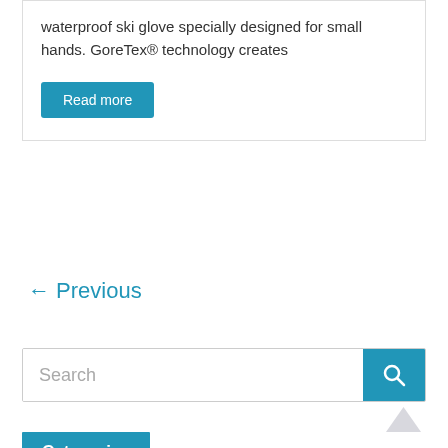waterproof ski glove specially designed for small hands. GoreTex® technology creates
Read more
← Previous
Search
Categories
Skiing and Snowboarding Clothing
Baselayers
Baselayer Bottoms